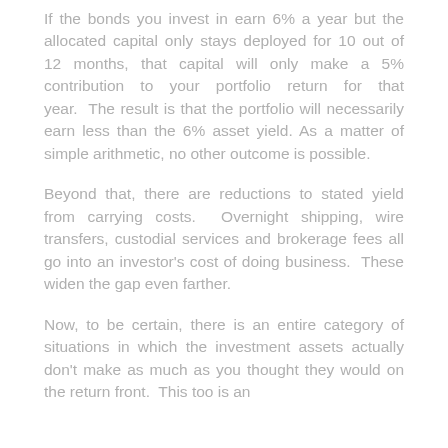If the bonds you invest in earn 6% a year but the allocated capital only stays deployed for 10 out of 12 months, that capital will only make a 5% contribution to your portfolio return for that year.  The result is that the portfolio will necessarily earn less than the 6% asset yield.  As a matter of simple arithmetic, no other outcome is possible.
Beyond that, there are reductions to stated yield from carrying costs.  Overnight shipping, wire transfers, custodial services and brokerage fees all go into an investor's cost of doing business.  These widen the gap even farther.
Now, to be certain, there is an entire category of situations in which the investment assets actually don't make as much as you thought they would on the return front.  This too is an